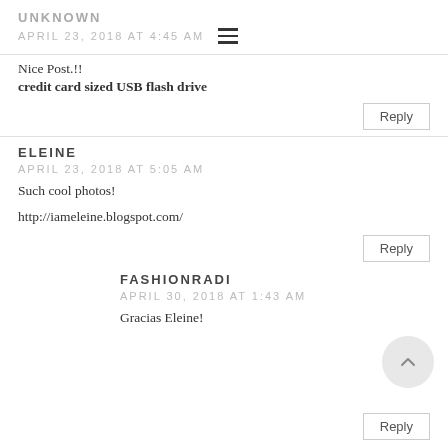UNKNOWN
APRIL 23, 2018 AT 4:45 AM
Nice Post.!! credit card sized USB flash drive
Reply
ELEINE
APRIL 23, 2018 AT 5:05 AM
Such cool photos!
http://iameleine.blogspot.com/
Reply
FASHIONRADI
APRIL 30, 2018 AT 1:43 AM
Gracias Eleine!
Reply